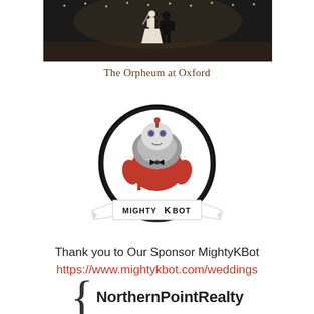[Figure (photo): Wedding couple dancing at The Orpheum at Oxford venue, dark interior with string lights]
The Orpheum at Oxford
[Figure (logo): MightyKBot logo: cartoon robot character in a circular emblem with banner reading MIGHTY K BOT]
Thank you to Our Sponsor MightyKBot
https://www.mightykbot.com/weddings
[Figure (logo): NorthernPointRealty logo with large curly brace and bold text]